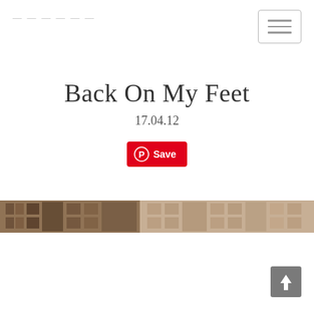Back On My Feet
17.04.12
[Figure (screenshot): Pinterest Save button with Pinterest circle logo icon in red]
[Figure (photo): Sepia-toned panoramic photo strip showing urban architecture/buildings]
[Figure (other): Scroll-to-top arrow button (grey square with upward arrow)]